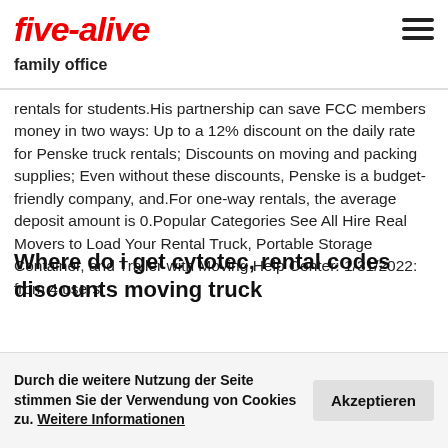five-alive family office
rentals for students. His partnership can save FCC members money in two ways: Up to a 12% discount on the daily rate for Penske truck rentals; Discounts on moving and packing supplies; Even without these discounts, Penske is a budget-friendly company, and. For one-way rentals, the average deposit amount is 0. Popular Categories See All Hire Real Movers to Load Your Rental Truck, Portable Storage Container, and Trailer with Moving Help Center: 1/31/2022: from 4 users.
Where do i get cytotec, rental codes discounts moving truck
How to use a Penske Truck Rental coupon Penske Truck Rental offers a fleet of commercial and household moving trucks at more than 2,000 locations around the US.(11 days ago) 25% OFF aarp moving truck rental discounts.Verified.Uhaul makes it easier for customers to save, by giving special discount codes, loyalty programs and more. Each full of twists and turns an adventures – in the imaginative sense – the purpose, and in the physical sense – location.Keep reading for a list of promotional deals and discounts offered by some of our favorite truck
Durch die weitere Nutzung der Seite stimmen Sie der Verwendung von Cookies zu. Weitere Informationen  Akzeptieren